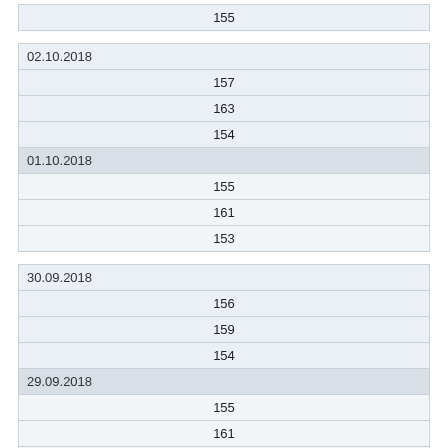| 155 |
| 02.10.2018 |
| 157 |
| 163 |
| 154 |
| 01.10.2018 |
| 155 |
| 161 |
| 153 |
| 30.09.2018 |
| 156 |
| 159 |
| 154 |
| 29.09.2018 |
| 155 |
| 161 |
| 150 |